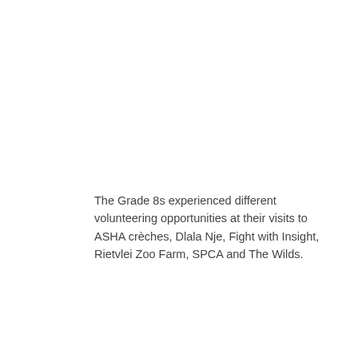The Grade 8s experienced different volunteering opportunities at their visits to ASHA crèches, Dlala Nje, Fight with Insight, Rietvlei Zoo Farm, SPCA and The Wilds.